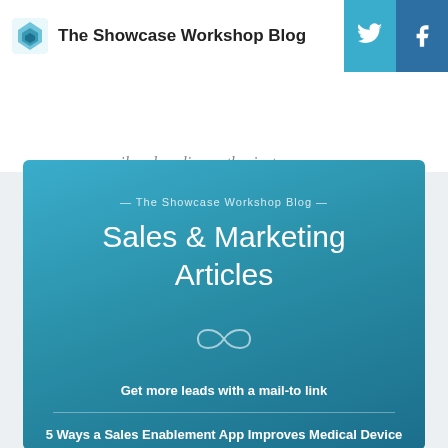The Showcase Workshop Blog
pencil and cycling enthusiast.
[Figure (infographic): Teal promotional card for The Showcase Workshop Blog featuring 'Sales & Marketing Articles', an infinity icon, article links including 'Get more leads with a mail-to link' and '5 Ways a Sales Enablement App Improves Medical Device']